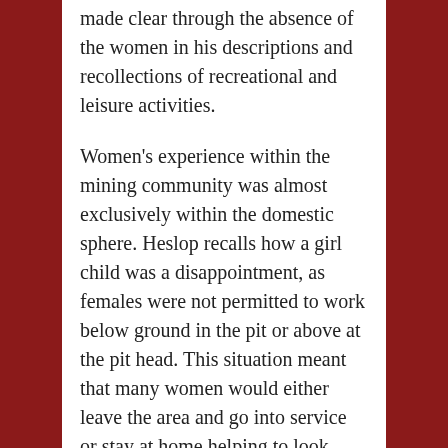made clear through the absence of the women in his descriptions and recollections of recreational and leisure activities.
Women's experience within the mining community was almost exclusively within the domestic sphere. Heslop recalls how a girl child was a disappointment, as females were not permitted to work below ground in the pit or above at the pit head. This situation meant that many women would either leave the area and go into service or stay at home helping to look after